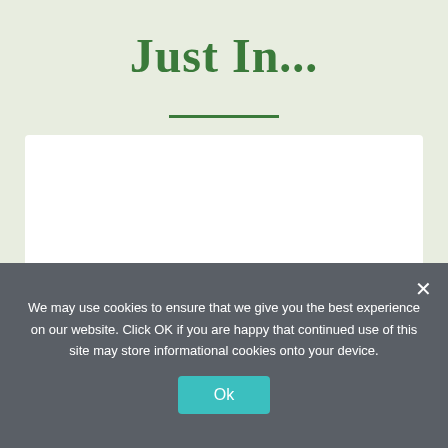Just In...
[Figure (other): White content box placeholder area]
We may use cookies to ensure that we give you the best experience on our website. Click OK if you are happy that continued use of this site may store informational cookies onto your device.